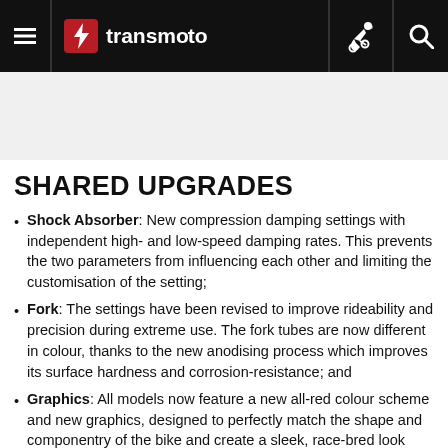transmoto
SHARED UPGRADES
Shock Absorber: New compression damping settings with independent high- and low-speed damping rates. This prevents the two parameters from influencing each other and limiting the customisation of the setting;
Fork: The settings have been revised to improve rideability and precision during extreme use. The fork tubes are now different in colour, thanks to the new anodising process which improves its surface hardness and corrosion-resistance; and
Graphics: All models now feature a new all-red colour scheme and new graphics, designed to perfectly match the shape and componentry of the bike and create a sleek, race-bred look